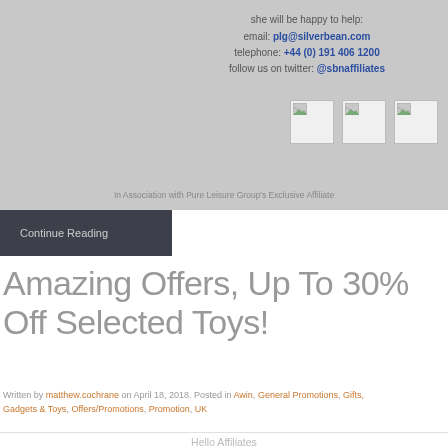she will be happy to help:
email: plg@silverbean.com
telephone: +44 (0) 191 406 1200
follow us on twitter: @sbnaffiliates
[Figure (other): Three small image placeholder icons in a row]
In Association with Pure Leisure Group's Exclusive Affiliate
Continue Reading
Amazing Offers, Up To 30% Off Selected Toys!
Written by matthew.cochrane on April 18, 2018. Posted in Awin, General Promotions, Gifts, Gadgets & Toys, Offers/Promotions, Promotion, UK
Hello Affiliates